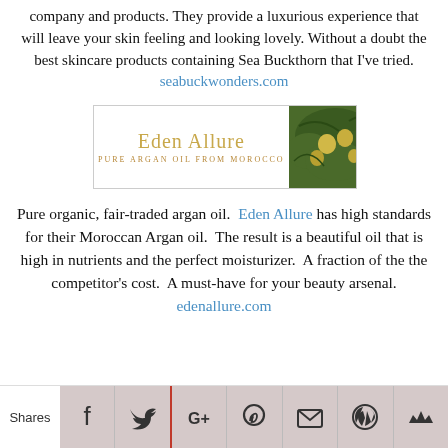company and products.  They provide a luxurious experience that will leave your skin feeling and looking lovely.  Without a doubt the best skincare products containing Sea Buckthorn that I've tried.
seabuckwonders.com
[Figure (illustration): Eden Allure banner ad — Pure Argan Oil From Morocco, with text on left and argan tree/fruit photo on right]
Pure organic, fair-traded argan oil.  Eden Allure has high standards for their Moroccan Argan oil.  The result is a beautiful oil that is high in nutrients and the perfect moisturizer.  A fraction of the the competitor's cost.  A must-have for your beauty arsenal.
edenallure.com
Shares | Facebook | Twitter | Google+ | Pinterest | Email | WordPress | Bookmark